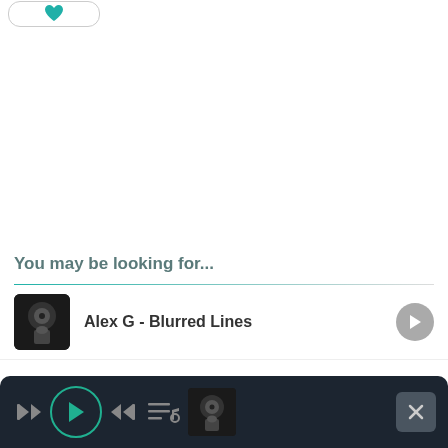[Figure (screenshot): Top bar with heart/like button showing teal heart icon, rounded rectangle button outline]
You may be looking for...
[Figure (screenshot): Music suggestion item: Alex G - Blurred Lines with dark album art thumbnail on left and grey play button on right]
[Figure (screenshot): Bottom music player bar with dark background, rewind, play (green circle), fast-forward, playlist, album art thumbnail controls, and X close button]